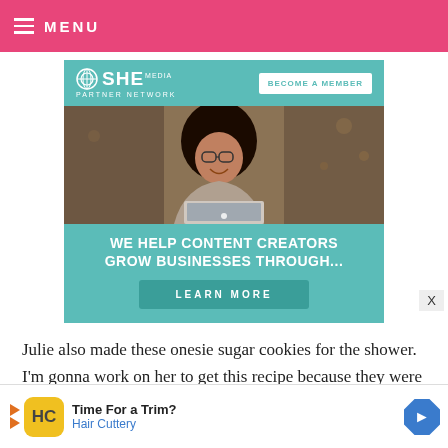MENU
[Figure (illustration): SHE Media Partner Network advertisement banner with a woman smiling at a laptop, teal background, text 'WE HELP CONTENT CREATORS GROW BUSINESSES THROUGH...' and a 'LEARN MORE' button, plus 'BECOME A MEMBER' call to action.]
Julie also made these onesie sugar cookies for the shower. I'm gonna work on her to get this recipe because they were really good.
[Figure (illustration): Bottom advertisement banner: Hair Cuttery 'Time For a Trim?' ad with yellow HC logo, blue navigation arrow icon.]